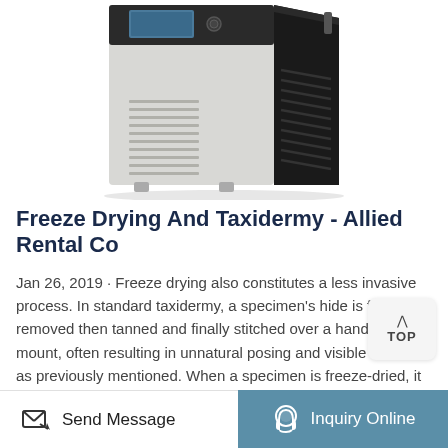[Figure (photo): A freeze-drying machine — a boxy industrial unit with a black top panel containing a display screen and control button, a light grey/white ventilated body with vertical slits on the right side, photographed against a white background.]
Freeze Drying And Taxidermy - Allied Rental Co
Jan 26, 2019 · Freeze drying also constitutes a less invasive process. In standard taxidermy, a specimen's hide is first removed then tanned and finally stitched over a handmade mount, often resulting in unnatural posing and visible stitches, as previously mentioned. When a specimen is freeze-dried, it is simply posed in a natural position and then...